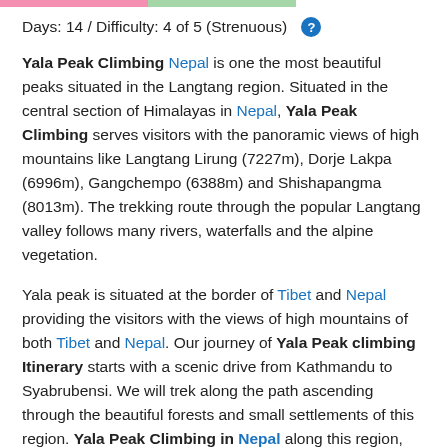Days: 14 / Difficulty: 4 of 5 (Strenuous)
Yala Peak Climbing Nepal is one the most beautiful peaks situated in the Langtang region. Situated in the central section of Himalayas in Nepal, Yala Peak Climbing serves visitors with the panoramic views of high mountains like Langtang Lirung (7227m), Dorje Lakpa (6996m), Gangchempo (6388m) and Shishapangma (8013m). The trekking route through the popular Langtang valley follows many rivers, waterfalls and the alpine vegetation.
Yala peak is situated at the border of Tibet and Nepal providing the visitors with the views of high mountains of both Tibet and Nepal. Our journey of Yala Peak climbing Itinerary starts with a scenic drive from Kathmandu to Syabrubensi. We will trek along the path ascending through the beautiful forests and small settlements of this region. Yala Peak Climbing in Nepal along this region, we will get the chance to visit the Cheese Factory and many